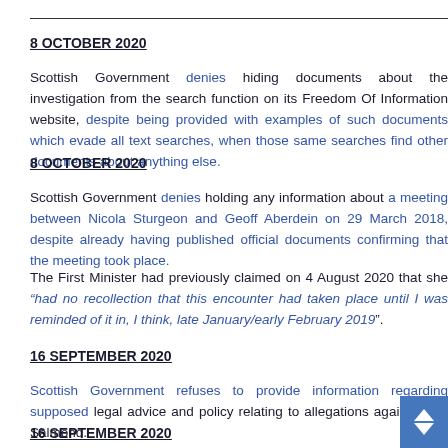8 OCTOBER 2020
Scottish Government denies hiding documents about the investigation from the search function on its Freedom Of Information website, despite being provided with examples of such documents which evade all text searches, when those same searches find other documents about anything else.
8 OCTOBER 2020
Scottish Government denies holding any information about a meeting between Nicola Sturgeon and Geoff Aberdein on 29 March 2018, despite already having published official documents confirming that the meeting took place.
The First Minister had previously claimed on 4 August 2020 that she “had no recollection that this encounter had taken place until I was reminded of it in, I think, late January/early February 2019”.
16 SEPTEMBER 2020
Scottish Government refuses to provide information regarding supposed legal advice and policy relating to allegations against Alex Salmond.
16 SEPTEMBER 2020